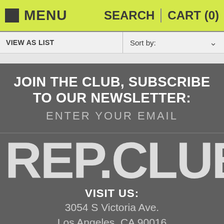MENU  SEARCH  CART (0)
VIEW AS LIST   Sort by:
JOIN THE CLUB, SUBSCRIBE TO OUR NEWSLETTER: ENTER YOUR EMAIL
REP.CLUB
VISIT US: 3054 S Victoria Ave. Los Angeles, CA 90016